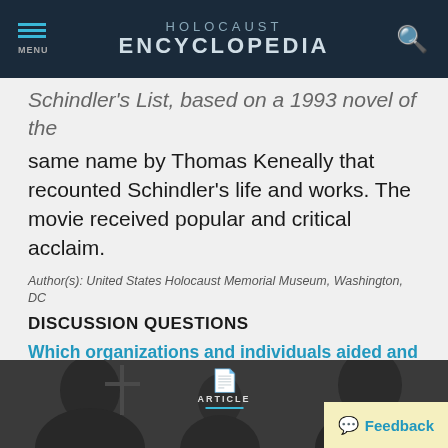HOLOCAUST ENCYCLOPEDIA
Schindler's List, based on a 1993 novel of the same name by Thomas Keneally that recounted Schindler's life and works. The movie received popular and critical acclaim.
Author(s): United States Holocaust Memorial Museum, Washington, DC
DISCUSSION QUESTIONS
Which organizations and individuals aided and protected Jews from persecution between 1933 and 1945?
SEE ALSO
[Figure (photo): Black and white photograph showing people, with an ARTICLE label overlay and a Feedback button in the lower right corner]